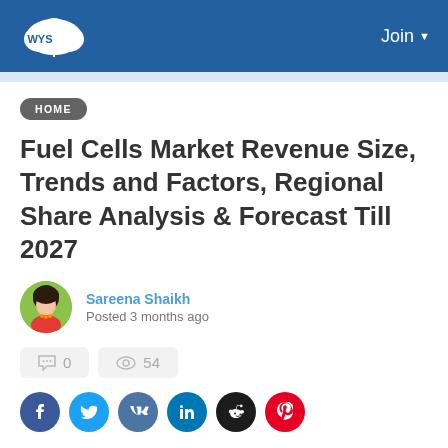WYS | Join
HOME
Fuel Cells Market Revenue Size, Trends and Factors, Regional Share Analysis & Forecast Till 2027
Sareena Shaikh
Posted 3 months ago
💬 0   👁 54
Social share icons: Facebook, Twitter, VK, LinkedIn, Reddit, Pinterest